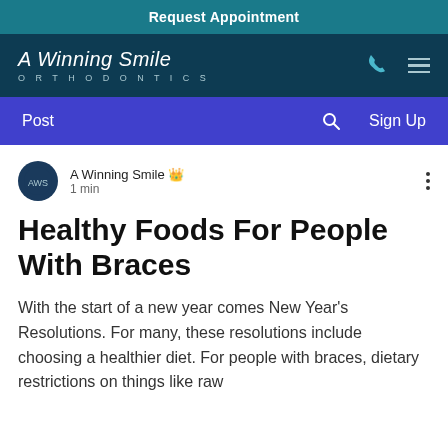Request Appointment
[Figure (logo): A Winning Smile Orthodontics logo with phone and hamburger menu icons on dark teal background]
Post | Search | Sign Up
A Winning Smile 👑 1 min
Healthy Foods For People With Braces
With the start of a new year comes New Year's Resolutions. For many, these resolutions include choosing a healthier diet. For people with braces, dietary restrictions on things like raw